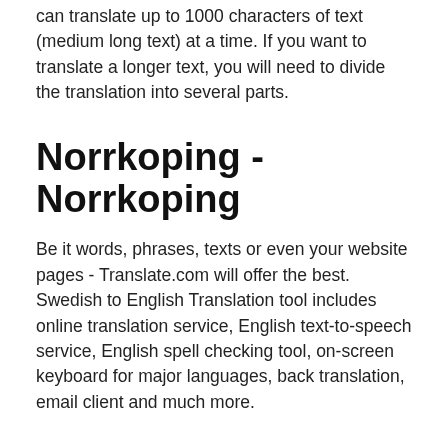can translate up to 1000 characters of text (medium long text) at a time. If you want to translate a longer text, you will need to divide the translation into several parts.
Norrkoping - Norrkoping
Be it words, phrases, texts or even your website pages - Translate.com will offer the best. Swedish to English Translation tool includes online translation service, English text-to-speech service, English spell checking tool, on-screen keyboard for major languages, back translation, email client and much more.